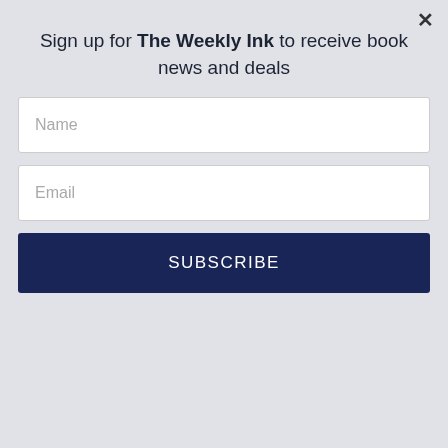Sign up for The Weekly Ink to receive book news and deals
Name
Email
SUBSCRIBE
[Figure (photo): Partial view of a tablet device on a wooden surface showing partial text 'ELS', with 'OCTOBER 4, 2022' and retailer logos (Amazon, Audible, Nook, Kobo) visible]
[Figure (photo): Book cover with dark blue starfield background and large gold text reading 'COVER' partially visible]